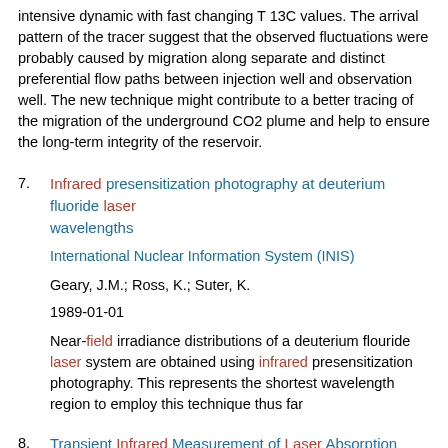intensive dynamic with fast changing T 13C values. The arrival pattern of the tracer suggest that the observed fluctuations were probably caused by migration along separate and distinct preferential flow paths between injection well and observation well. The new technique might contribute to a better tracing of the migration of the underground CO2 plume and help to ensure the long-term integrity of the reservoir.
7. Infrared presensitization photography at deuterium fluoride laser wavelengths
International Nuclear Information System (INIS)
Geary, J.M.; Ross, K.; Suter, K.
1989-01-01
Near-field irradiance distributions of a deuterium flouride laser system are obtained using infrared presensitization photography. This represents the shortest wavelength region to employ this technique thus far
8. Transient Infrared Measurement of Laser Absorption Properties of Porous Materials